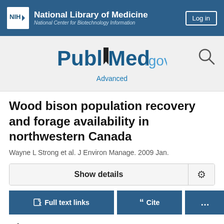NIH National Library of Medicine National Center for Biotechnology Information
[Figure (logo): PubMed.gov logo with search icon and Advanced link]
Wood bison population recovery and forage availability in northwestern Canada
Wayne L Strong et al. J Environ Manage. 2009 Jan.
Show details
Full text links
Cite
Abstract